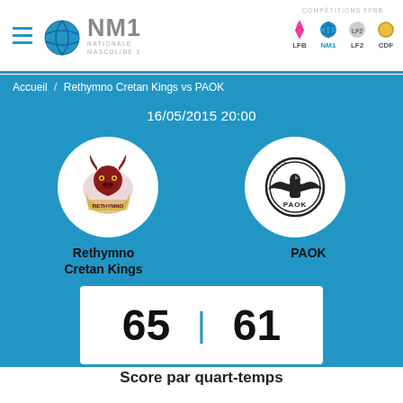NM1 NATIONALE MASCULING 1 | COMPÉTITIONS FFBB | LFB | NM1 | LF2 | CDF
Accueil / Rethymno Cretan Kings vs PAOK
16/05/2015 20:00
[Figure (logo): Rethymno Cretan Kings logo - round white circle with team crest]
[Figure (logo): PAOK logo - round white circle with PAOK eagle crest in black and white]
Rethymno Cretan Kings
PAOK
65 | 61
Score par quart-temps